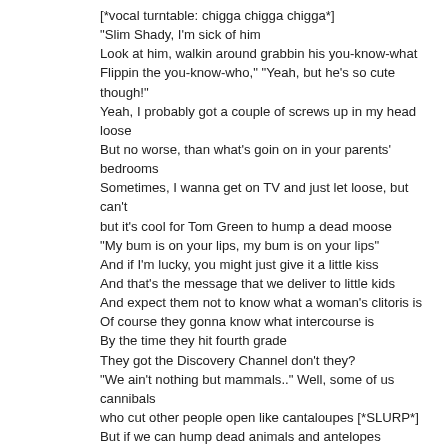[*vocal turntable: chigga chigga chigga*]
"Slim Shady, I'm sick of him
Look at him, walkin around grabbin his you-know-what
Flippin the you-know-who," "Yeah, but he's so cute though!"
Yeah, I probably got a couple of screws up in my head loose
But no worse, than what's goin on in your parents' bedrooms
Sometimes, I wanna get on TV and just let loose, but can't
but it's cool for Tom Green to hump a dead moose
"My bum is on your lips, my bum is on your lips"
And if I'm lucky, you might just give it a little kiss
And that's the message that we deliver to little kids
And expect them not to know what a woman's clitoris is
Of course they gonna know what intercourse is
By the time they hit fourth grade
They got the Discovery Channel don't they?
"We ain't nothing but mammals.." Well, some of us cannibals
who cut other people open like cantaloupes [*SLURP*]
But if we can hump dead animals and antelopes
then there's no reason that a man and another man can't elope
[*EWWW!*] But if you feel like I feel, I got the antidote
Women wave your pantyhose, sing the chorus and it goes
[Chorus: Eminem (repeat 2X)]
I'm Slim Shady, yes I'm the real Shady
All you other Slim Shadys are just imitating
So won't the real Slim Shady please stand up,
please stand up, please stand up?
[Eminem]